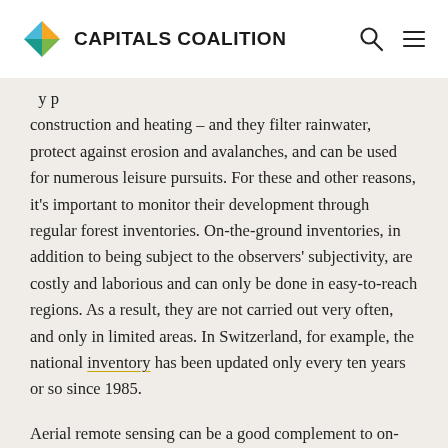CAPITALS COALITION
construction and heating – and they filter rainwater, protect against erosion and avalanches, and can be used for numerous leisure pursuits. For these and other reasons, it's important to monitor their development through regular forest inventories. On-the-ground inventories, in addition to being subject to the observers' subjectivity, are costly and laborious and can only be done in easy-to-reach regions. As a result, they are not carried out very often, and only in limited areas. In Switzerland, for example, the national inventory has been updated only every ten years or so since 1985.
Aerial remote sensing can be a good complement to on-the-ground monitoring. It is more objective and less expensive, and it can cover a larger area. Two techniques